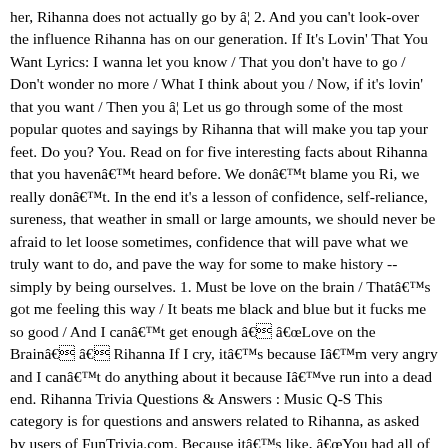her, Rihanna does not actually go by â¦ 2. And you can't look-over the influence Rihanna has on our generation. If It's Lovin' That You Want Lyrics: I wanna let you know / That you don't have to go / Don't wonder no more / What I think about you / Now, if it's lovin' that you want / Then you â¦ Let us go through some of the most popular quotes and sayings by Rihanna that will make you tap your feet. Do you? You. Read on for five interesting facts about Rihanna that you havenât heard before. We donât blame you Ri, we really donât. In the end it's a lesson of confidence, self-reliance, sureness, that weather in small or large amounts, we should never be afraid to let loose sometimes, confidence that will pave what we truly want to do, and pave the way for some to make history -- simply by being ourselves. 1. Must be love on the brain / Thatâs got me feeling this way / It beats me black and blue but it fucks me so good / And I canât get enough â âLove on the Brainâ â Rihanna If I cry, itâs because Iâm very angry and I canât do anything about it because Iâve run into a dead end. Rihanna Trivia Questions & Answers : Music Q-S This category is for questions and answers related to Rihanna, as asked by users of FunTrivia.com. Because itâs like, âYou had all of me. How well do you know Rihanna The incredible singer? â Rihanna . / Don't mind catching up / I'm on my way / Just can't take the thought of you miles away / â¦ Girl you keep it one hunnit Always gon' hold me down You know you're the number one Girl I'mma work you out [Chris Brown & Rihanna:] Ain't got much to say I